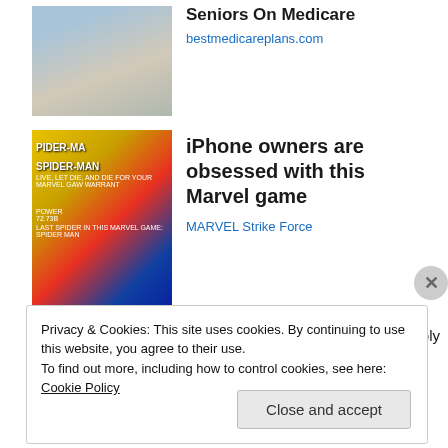[Figure (photo): Seniors walking in a store, partial view of people with shopping carts]
Seniors On Medicare
bestmedicareplans.com
[Figure (photo): Spider-Man Marvel Strike Force game promotional image with yellow and blue background]
iPhone owners are obsessed with this Marvel game
MARVEL Strike Force
September 10, 2013
Leave a Reply
Privacy & Cookies: This site uses cookies. By continuing to use this website, you agree to their use.
To find out more, including how to control cookies, see here: Cookie Policy
Close and accept